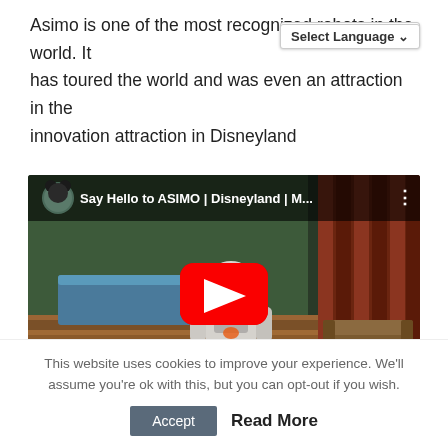Asimo is one of the most recognized robots in the world. It has toured the world and was even an attraction in the innovation attraction in Disneyland
[Figure (screenshot): YouTube video thumbnail showing ASIMO robot at Disneyland with title 'Say Hello to ASIMO | Disneyland | M...' and a red play button overlay]
This website uses cookies to improve your experience. We'll assume you're ok with this, but you can opt-out if you wish.
Accept   Read More